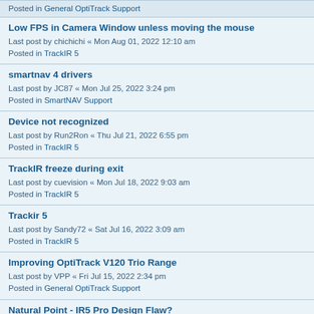Posted in General OptiTrack Support
Low FPS in Camera Window unless moving the mouse
Last post by chichichi « Mon Aug 01, 2022 12:10 am
Posted in TrackIR 5
smartnav 4 drivers
Last post by JC87 « Mon Jul 25, 2022 3:24 pm
Posted in SmartNAV Support
Device not recognized
Last post by Run2Ron « Thu Jul 21, 2022 6:55 pm
Posted in TrackIR 5
TrackIR freeze during exit
Last post by cuevision « Mon Jul 18, 2022 9:03 am
Posted in TrackIR 5
Trackir 5
Last post by Sandy72 « Sat Jul 16, 2022 3:09 am
Posted in TrackIR 5
Improving OptiTrack V120 Trio Range
Last post by VPP « Fri Jul 15, 2022 2:34 pm
Posted in General OptiTrack Support
Natural Point - IR5 Pro Design Flaw?
Last post by Quicksand « Thu Jul 14, 2022 8:14 am
Posted in TrackIR 5
Bug reports
Last post by AlphaMouse « Thu Jul 07, 2022 8:34 am
Posted in Motive